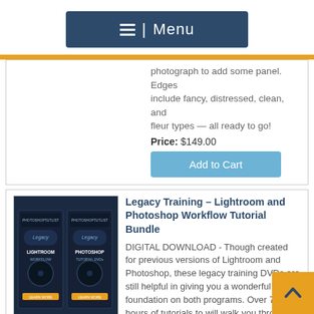[Figure (screenshot): Navigation menu button with hamburger icon and 'Menu' text on dark blue background]
photograph to add some panel. Edges include fancy, distressed, clean, and fleur types — all ready to go!
Price: $149.00
Add to Cart
[Figure (photo): Product image showing two dark-themed DVD/tutorial box covers for Legacy Lightroom Workflow and Legacy Photoshop Tutorial]
Legacy Training – Lightroom and Photoshop Workflow Tutorial Bundle
DIGITAL DOWNLOAD - Though created for previous versions of Lightroom and Photoshop, these legacy training DVDs are still helpful in giving you a wonderful foundation on both programs. Over 7 1/2 hours of tutorials to will walk you through every step of Bry's entire process that take the "work" out of your "workflow"